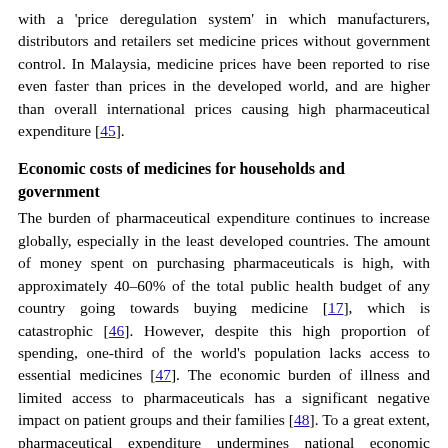with a 'price deregulation system' in which manufacturers, distributors and retailers set medicine prices without government control. In Malaysia, medicine prices have been reported to rise even faster than prices in the developed world, and are higher than overall international prices causing high pharmaceutical expenditure [45].
Economic costs of medicines for households and government
The burden of pharmaceutical expenditure continues to increase globally, especially in the least developed countries. The amount of money spent on purchasing pharmaceuticals is high, with approximately 40–60% of the total public health budget of any country going towards buying medicine [17], which is catastrophic [46]. However, despite this high proportion of spending, one-third of the world's population lacks access to essential medicines [47]. The economic burden of illness and limited access to pharmaceuticals has a significant negative impact on patient groups and their families [48]. To a great extent, pharmaceutical expenditure undermines national economic development, especially in countries with low gross domestic products (GDPs) and a dependent economy [49]. Even in countries where medicines are provided for free through the public sector, they can often be unavailable [34]. As such, patients are forced to pay out of their own pockets when they are ill, especially in developing countries [50]. Countries which rely heavily on out-of-pocket (OOP)